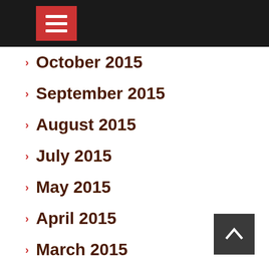October 2015
September 2015
August 2015
July 2015
May 2015
April 2015
March 2015
February 2015
December 2014
November 2014
September 2014